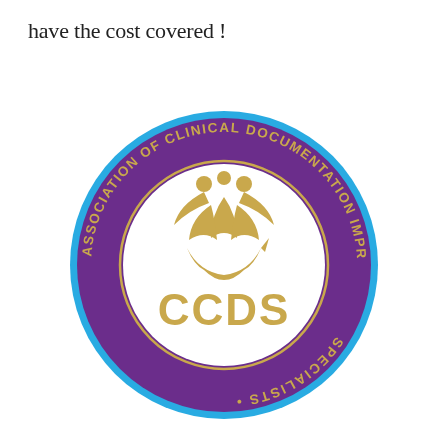have the cost covered !
[Figure (logo): CCDS — Association of Clinical Documentation Improvement Specialists circular logo. Outer ring is cyan/blue, inner ring is purple with gold text reading 'ASSOCIATION OF CLINICAL DOCUMENTATION IMPROVEMENT SPECIALISTS' around the circumference (top half forward, bottom half upside-down). Center white circle contains a gold stylized figure/lotus icon and the letters 'CCDS' in large gold text.]